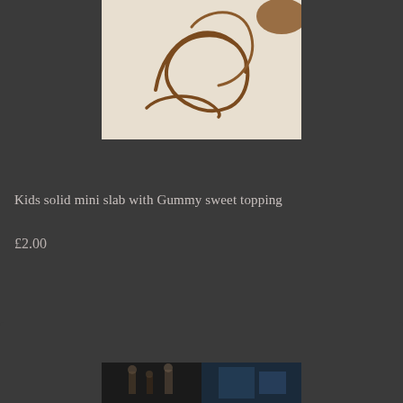[Figure (photo): Close-up photo of a chocolate or caramel design/script drawn on a light-colored surface, appearing to show a cursive letter or decorative swirl in brown/chocolate color]
Kids solid mini slab with Gummy sweet topping
£2.00
[Figure (photo): Partial view of a photo at the bottom of the page, appears to show people in a dark setting]